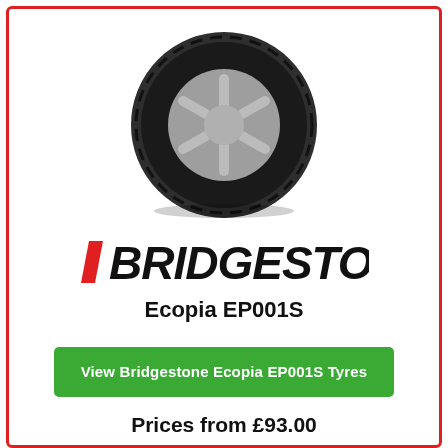[Figure (photo): Bridgestone Ecopia EP001S tyre product photo, showing a dark car tyre with silver alloy-style rim, viewed from a slight angle]
[Figure (logo): Bridgestone logo in bold black italic text with a red parallelogram slash through the B]
Ecopia EP001S
View Bridgestone Ecopia EP001S Tyres
Prices from £93.00